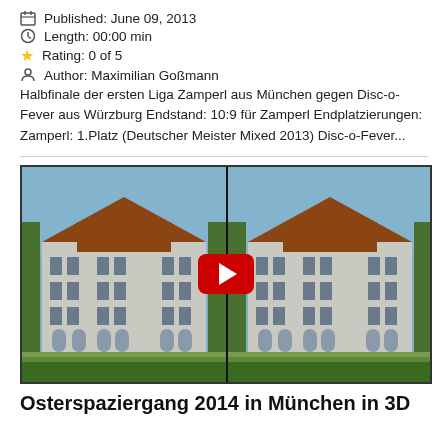Published: June 09, 2013
Length: 00:00 min
Rating: 0 of 5
Author: Maximilian Goßmann
Halbfinale der ersten Liga Zamperl aus München gegen Disc-o-Fever aus Würzburg Endstand: 10:9 für Zamperl Endplatzierungen: Zamperl: 1.Platz (Deutscher Meister Mixed 2013) Disc-o-Fever...
[Figure (photo): Side-by-side 3D stereoscopic video thumbnail showing Nymphenburg Palace in Munich with a YouTube play button overlay]
Osterspaziergang 2014 in München in 3D